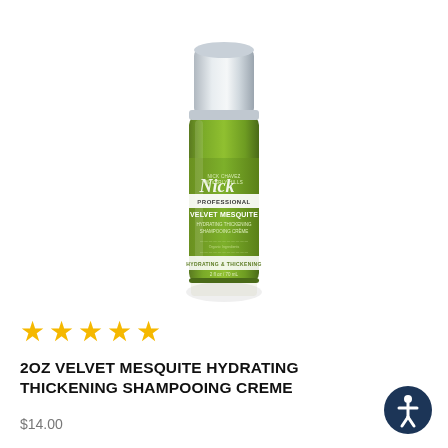[Figure (photo): Small green bottle of Nick Chavez Beverly Hills Professional Velvet Mesquite Hydrating Thickening Shampooing Creme with silver cap, travel size 2oz/70ml]
★★★★★
2OZ VELVET MESQUITE HYDRATING THICKENING SHAMPOOING CREME
$14.00
[Figure (logo): Accessibility icon - person in circle, dark navy blue]